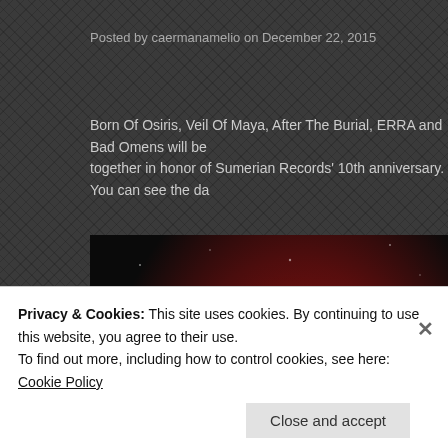Posted by caermanamelio on December 22, 2015
Born Of Osiris, Veil Of Maya, After The Burial, ERRA and Bad Omens will be together in honor of Sumerian Records' 10th anniversary. You can see the da
[Figure (photo): Sumerian Records 10 Year Tour promotional image with sci-fi space background showing UFOs, explosions, text reading SUMERIAN RECORDS 10 YEAR TOUR and BORN OF OSIRIS band name at bottom]
Privacy & Cookies: This site uses cookies. By continuing to use this website, you agree to their use.
To find out more, including how to control cookies, see here: Cookie Policy
Close and accept